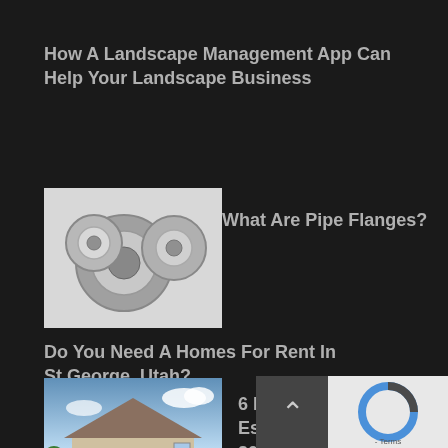How A Landscape Management App Can Help Your Landscape Business
[Figure (photo): Metallic pipe flanges on a light background]
What Are Pipe Flanges?
Do You Need A Homes For Rent In St.George, Utah?
[Figure (photo): Suburban house with two-car garage and blue sky]
6 Post-Covid Real Estate Predictions For 2020 And Beyond